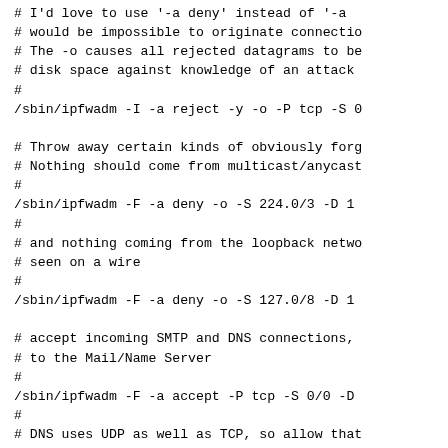# I'd love to use '-a deny' instead of '-a
# would be impossible to originate connectio
# The -o causes all rejected datagrams to be
# disk space against knowledge of an attack
#
/sbin/ipfwadm -I -a reject -y -o -P tcp -S 0

# Throw away certain kinds of obviously forg
# Nothing should come from multicast/anycast
#
/sbin/ipfwadm -F -a deny -o -S 224.0/3 -D 1
#
# and nothing coming from the loopback netwo
# seen on a wire
#
/sbin/ipfwadm -F -a deny -o -S 127.0/8 -D 1

# accept incoming SMTP and DNS connections,
# to the Mail/Name Server
#
/sbin/ipfwadm -F -a accept -P tcp -S 0/0 -D
#
# DNS uses UDP as well as TCP, so allow that
# for questions to our name server
#
/sbin/ipfwadm -F -a accept -P udp -S 0/0 -D
#
# but not "answers" coming to dangerous port
# Larry McVoy's NFS extension.  If you run s
#